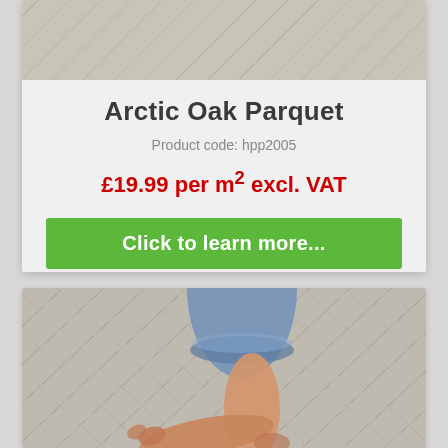[Figure (photo): Arctic Oak Parquet flooring pattern viewed from above]
Arctic Oak Parquet
Product code: hpp2005
£19.99 per m² excl. VAT
Click to learn more...
[Figure (photo): Person's bare feet and rolled-up jeans walking on Arctic Oak Parquet herringbone flooring]